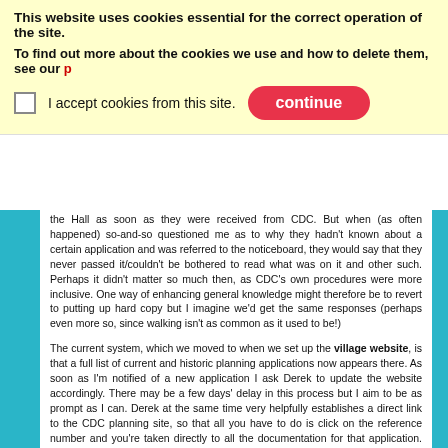This website uses cookies essential for the correct operation of the site.
To find out more about the cookies we use and how to delete them, see our p[rivacy policy]
I accept cookies from this site. [continue button]
the Hall as soon as they were received from CDC. But when (as often happened) so-and-so questioned me as to why they hadn't known about a certain application and was referred to the noticeboard, they would say that they never passed it/couldn't be bothered to read what was on it and other such. Perhaps it didn't matter so much then, as CDC's own procedures were more inclusive. One way of enhancing general knowledge might therefore be to revert to putting up hard copy but I imagine we'd get the same responses (perhaps even more so, since walking isn't as common as it used to be!)
The current system, which we moved to when we set up the village website, is that a full list of current and historic planning applications now appears there. As soon as I'm notified of a new application I ask Derek to update the website accordingly. There may be a few days' delay in this process but I aim to be as prompt as I can. Derek at the same time very helpfully establishes a direct link to the CDC planning site, so that all you have to do is click on the reference number and you're taken directly to all the documentation for that application. So